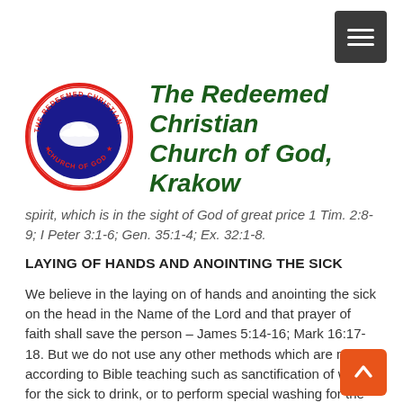[Figure (logo): The Redeemed Christian Church of God circular logo with dove emblem]
The Redeemed Christian Church of God, Krakow
spirit, which is in the sight of God of great price 1 Tim. 2:8-9; I Peter 3:1-6; Gen. 35:1-4; Ex. 32:1-8.
LAYING OF HANDS AND ANOINTING THE SICK
We believe in the laying on of hands and anointing the sick on the head in the Name of the Lord and that prayer of faith shall save the person – James 5:14-16; Mark 16:17-18. But we do not use any other methods which are not according to Bible teaching such as sanctification of water for the sick to drink, or to perform special washing for the sick in the flowing river,